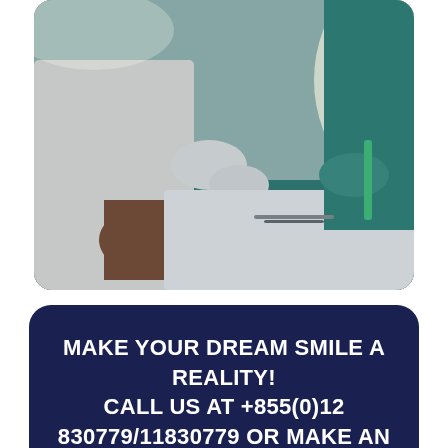[Figure (photo): Dental procedure photo showing two dental professionals in surgical attire (green scrubs and white coat) performing a dental operation on a patient. Bright surgical light illuminates the scene. Dental tools visible on a white drape.]
MAKE YOUR DREAM SMILE A REALITY! CALL US AT +855(0)12 830779/11830779 OR MAKE AN APPOINTMENT